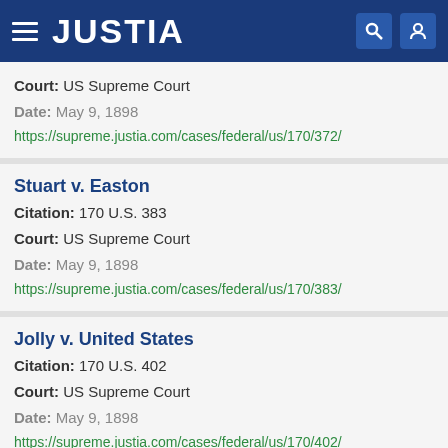JUSTIA
Court: US Supreme Court
Date: May 9, 1898
https://supreme.justia.com/cases/federal/us/170/372/
Stuart v. Easton
Citation: 170 U.S. 383
Court: US Supreme Court
Date: May 9, 1898
https://supreme.justia.com/cases/federal/us/170/383/
Jolly v. United States
Citation: 170 U.S. 402
Court: US Supreme Court
Date: May 9, 1898
https://supreme.justia.com/cases/federal/us/170/402/